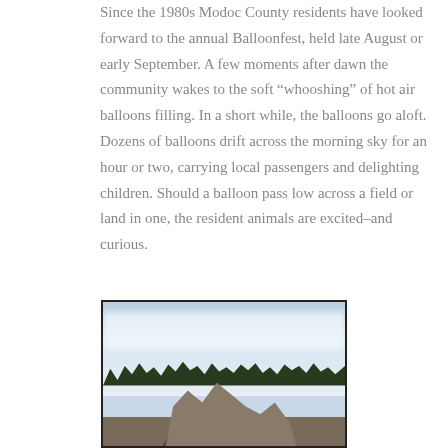Since the 1980s Modoc County residents have looked forward to the annual Balloonfest, held late August or early September. A few moments after dawn the community wakes to the soft “whooshing” of hot air balloons filling. In a short while, the balloons go aloft. Dozens of balloons drift across the morning sky for an hour or two, carrying local passengers and delighting children. Should a balloon pass low across a field or land in one, the resident animals are excited–and curious.
[Figure (photo): A landscape photograph showing a cloudy sky with a dark treeline and rocky formation in the foreground.]